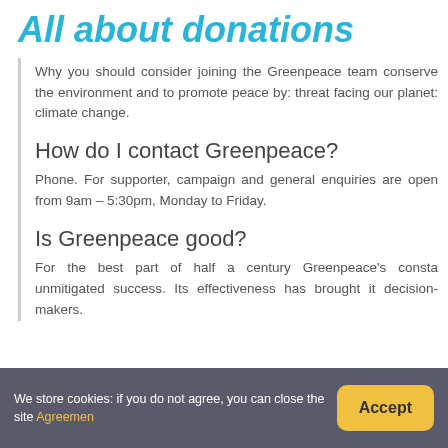All about donations
Why you should consider joining the Greenpeace team conserve the environment and to promote peace by: threat facing our planet: climate change.
How do I contact Greenpeace?
Phone. For supporter, campaign and general enquiries are open from 9am – 5:30pm, Monday to Friday.
Is Greenpeace good?
For the best part of half a century Greenpeace's consta unmitigated success. Its effectiveness has brought it decision-makers.
We store cookies: if you do not agree, you can close the site Agreemen